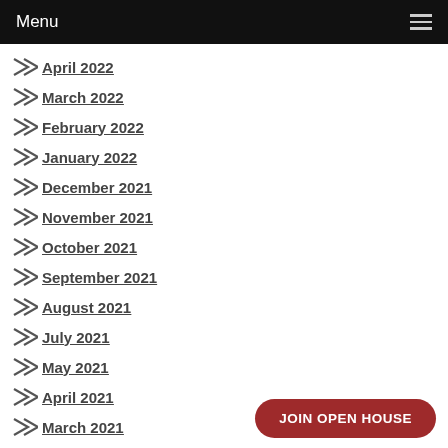Menu
April 2022
March 2022
February 2022
January 2022
December 2021
November 2021
October 2021
September 2021
August 2021
July 2021
May 2021
April 2021
March 2021
JOIN OPEN HOUSE